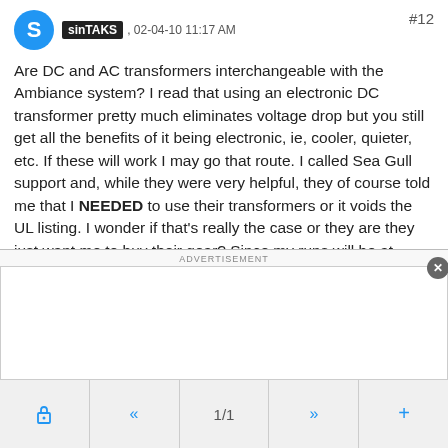sinTAKS , 02-04-10 11:17 AM #12
Are DC and AC transformers interchangeable with the Ambiance system? I read that using an electronic DC transformer pretty much eliminates voltage drop but you still get all the benefits of it being electronic, ie, cooler, quieter, etc. If these will work I may go that route. I called Sea Gull support and, while they were very helpful, they of course told me that I NEEDED to use their transformers or it voids the UL listing. I wonder if that's really the case or they are they just want me to buy their gear? Since my runs will be at about 15' the DC transformer seems like a great idea. Thoughts?

Thanks again guys.
ADVERTISEMENT
🔒  «  1/1  »  +